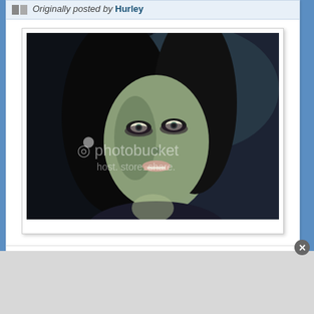Originally posted by Hurley
[Figure (photo): Close-up photo of a woman with dark hair and pale greenish-tinted skin, looking intense with dark-rimmed eyes. A Photobucket watermark is overlaid on the image reading 'photobucket host. store. share.']
As we've mentioned Claudia's eyes. They look pretty creepy here. Ophelia, indeed.
A.